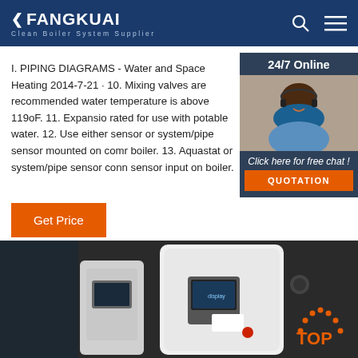FANGKUAI - Clean Boiler System Supplier
I. PIPING DIAGRAMS - Water and Space Heating 2014-7-21 · 10. Mixing valves are recommended water temperature is above 119oF. 11. Expansio rated for use with potable water. 12. Use either sensor or system/pipe sensor mounted on comm boiler. 13. Aquastat or system/pipe sensor conn sensor input on boiler.
[Figure (photo): Customer service representative with headset, 24/7 Online chat widget with quotation button]
Get Price
[Figure (photo): Industrial boiler equipment photo showing white cylindrical tank and control panel with TOP badge overlay]